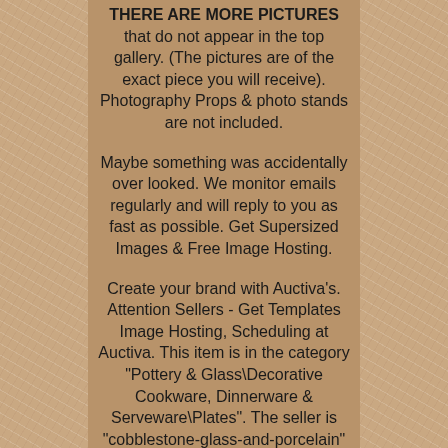THERE ARE MORE PICTURES that do not appear in the top gallery. (The pictures are of the exact piece you will receive). Photography Props & photo stands are not included.
Maybe something was accidentally over looked. We monitor emails regularly and will reply to you as fast as possible. Get Supersized Images & Free Image Hosting.
Create your brand with Auctiva's. Attention Sellers - Get Templates Image Hosting, Scheduling at Auctiva. This item is in the category "Pottery & Glass\Decorative Cookware, Dinnerware & Serveware\Plates". The seller is "cobblestone-glass-and-porcelain" and is located in this country: US. This item can be shipped to United States, Canada, United Kingdom, Denmark, Romania, Slovakia, Bulgaria, Czech Republic, Finland, Hungary, Latvia, Lithuania, Malta, Estonia, Australia, Greece, Portugal, Cyprus...